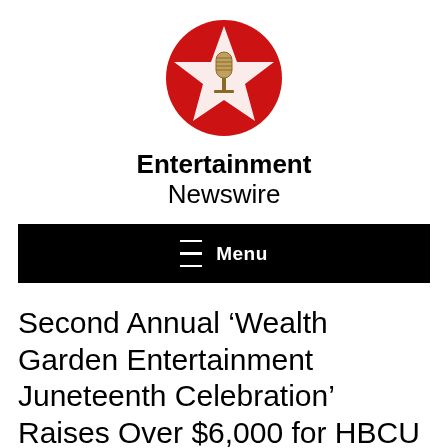[Figure (logo): Entertainment Newswire logo: red circle with a white five-pointed star and a microphone icon in the center]
Entertainment Newswire
≡  Menu
Second Annual ‘Wealth Garden Entertainment Juneteenth Celebration’ Raises Over $6,000 for HBCU